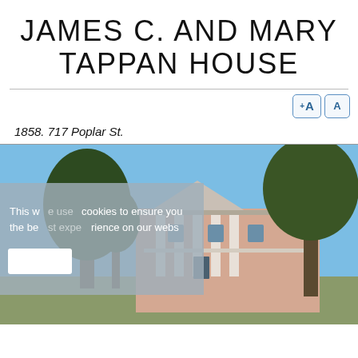JAMES C. AND MARY TAPPAN HOUSE
1858. 717 Poplar St.
[Figure (photo): Exterior photograph of the James C. and Mary Tappan House, a large antebellum-style mansion with white columns, set among tall trees on a sunny day. A cookie consent overlay is partially visible over the lower-left portion of the image.]